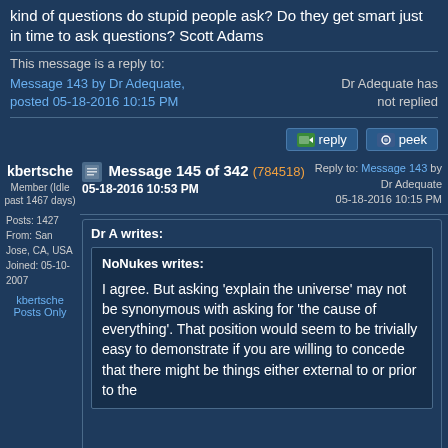kind of questions do stupid people ask? Do they get smart just in time to ask questions? Scott Adams
This message is a reply to:
Message 143 by Dr Adequate, posted 05-18-2016 10:15 PM
Dr Adequate has not replied
kbertsche
Member (Idle past 1467 days)
Posts: 1427
From: San Jose, CA, USA
Joined: 05-10-2007
kbertsche Posts Only
Message 145 of 342 (784518)
05-18-2016 10:53 PM
Reply to: Message 143 by Dr Adequate
05-18-2016 10:15 PM
Dr A writes:
NoNukes writes:
I agree. But asking 'explain the universe' may not be synonymous with asking for 'the cause of everything'. That position would seem to be trivially easy to demonstrate if you are willing to concede that there might be things either external to or prior to the